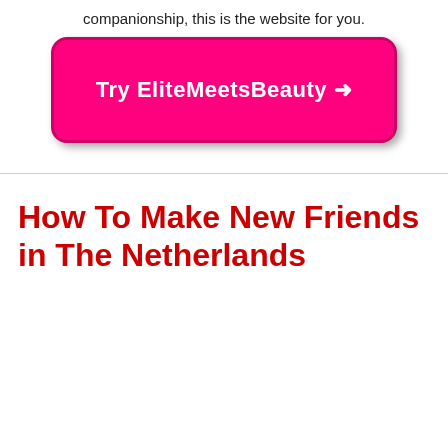companionship, this is the website for you.
[Figure (other): Pink call-to-action button with white bold text reading 'Try EliteMeetsBeauty →' with rounded corners and drop shadow]
How To Make New Friends in The Netherlands